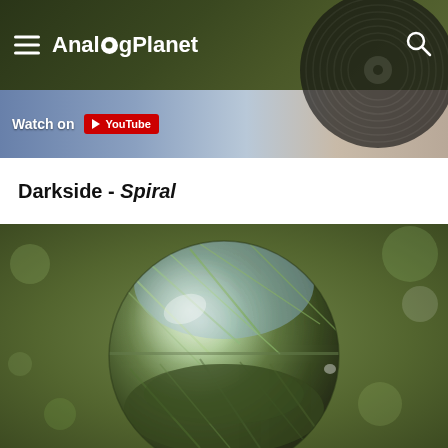AnalogPlanet
[Figure (screenshot): Watch on YouTube banner strip with blue/tan background]
Darkside - Spiral
[Figure (photo): Close-up photograph of a large glass sphere reflecting and refracting a grassy outdoor scene with trees and foliage]